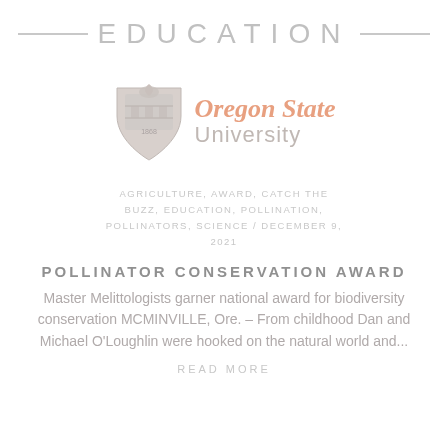EDUCATION
[Figure (logo): Oregon State University logo with shield crest and orange italic text 'Oregon State University']
AGRICULTURE, AWARD, CATCH THE BUZZ, EDUCATION, POLLINATION, POLLINATORS, SCIENCE / DECEMBER 9, 2021
POLLINATOR CONSERVATION AWARD
Master Melittologists garner national award for biodiversity conservation MCMINVILLE, Ore. – From childhood Dan and Michael O'Loughlin were hooked on the natural world and...
READ MORE